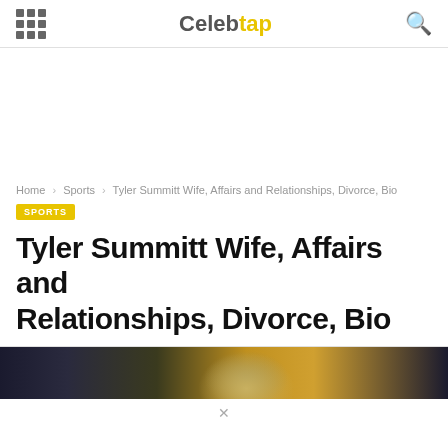Celebtap
Home > Sports > Tyler Summitt Wife, Affairs and Relationships, Divorce, Bio
SPORTS
Tyler Summitt Wife, Affairs and Relationships, Divorce, Bio
[Figure (photo): Partial photo strip showing a person, dimly visible against a dark and warm-toned background]